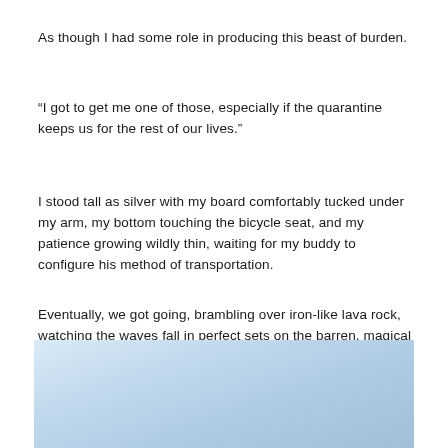As though I had some role in producing this beast of burden.
“I got to get me one of those, especially if the quarantine keeps us for the rest of our lives.”
I stood tall as silver with my board comfortably tucked under my arm, my bottom touching the bicycle seat, and my patience growing wildly thin, waiting for my buddy to configure his method of transportation.
Eventually, we got going, brambling over iron-like lava rock, watching the waves fall in perfect sets on the barren, magical Kona coast.
[Figure (photo): Pale blue sky with light clouds, partial coastal scene at the bottom of the page]